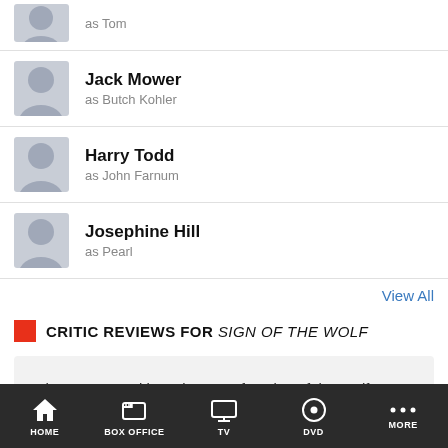as Tom
Jack Mower
as Butch Kohler
Harry Todd
as John Farnum
Josephine Hill
as Pearl
View All
CRITIC REVIEWS FOR SIGN OF THE WOLF
There are no critic reviews yet for Sign of the Wolf. Keep checking Rotten Tomatoes for updates!
HOME  BOX OFFICE  TV  DVD  MORE